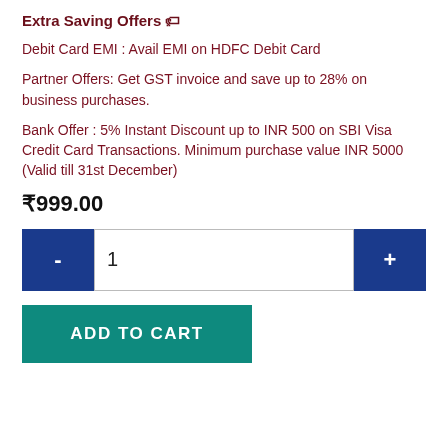Extra Saving Offers 🏷
Debit Card EMI : Avail EMI on HDFC Debit Card
Partner Offers: Get GST invoice and save up to 28% on business purchases.
Bank Offer : 5% Instant Discount up to INR 500 on SBI Visa Credit Card Transactions. Minimum purchase value INR 5000 (Valid till 31st December)
₹999.00
[Figure (other): Quantity selector with minus button, input field showing 1, and plus button]
[Figure (other): ADD TO CART button in teal/green color]